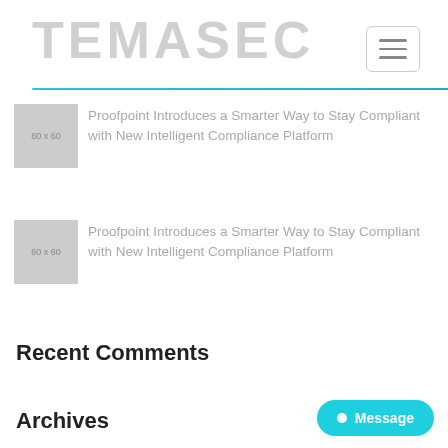TEMASEC
[Figure (screenshot): Placeholder thumbnail image 60x60]
Proofpoint Introduces a Smarter Way to Stay Compliant with New Intelligent Compliance Platform
[Figure (screenshot): Placeholder thumbnail image 60x60]
Proofpoint Introduces a Smarter Way to Stay Compliant with New Intelligent Compliance Platform
Recent Comments
Archives